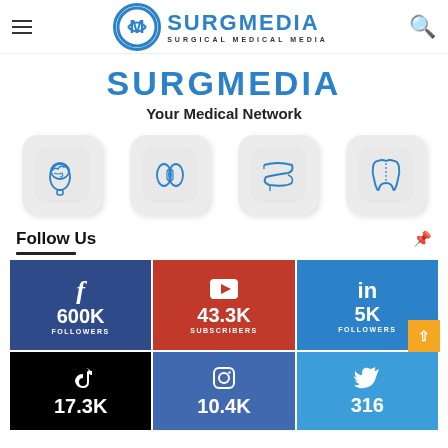SURGMEDIA — Surgical Medical Media
SURGMEDIA
Your Medical Network
[Figure (illustration): Four medical specialty icons: brain/neurology, kidneys/urology, intestines/gastroenterology, tooth/dentistry — displayed as rounded square app icons in blue outline style on light grey background]
Follow Us
[Figure (infographic): Social media follower count grid: Facebook 600K Followers (dark blue), YouTube 43.3K Subscribers (red), LinkedIn 5K Followers (blue), TikTok 17.3K, Instagram 10.4K, Twitter 316]